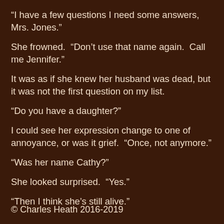“I have a few questions I need some answers, Mrs. Jones.”
She frowned.  “Don’t use that name again.  Call me Jennifer.”
It was as if she knew her husband was dead, but it was not the first question on my list.
“Do you have a daughter?”
I could see her expression change to one of annoyance, or was it grief.  “Once, not anymore.”
“Was her name Cathy?”
She looked surprised.  “Yes.”
“Then I think she’s still alive.”
© Charles Heath 2016-2019